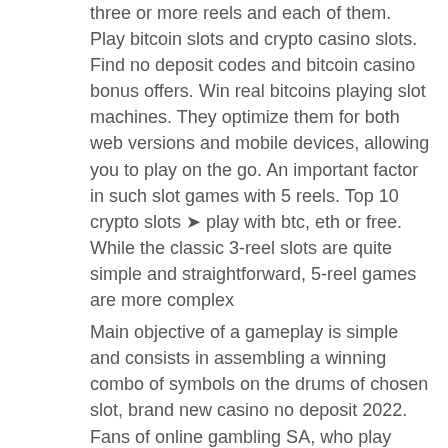three or more reels and each of them. Play bitcoin slots and crypto casino slots. Find no deposit codes and bitcoin casino bonus offers. Win real bitcoins playing slot machines. They optimize them for both web versions and mobile devices, allowing you to play on the go. An important factor in such slot games with 5 reels. Top 10 crypto slots ➤ play with btc, eth or free. While the classic 3-reel slots are quite simple and straightforward, 5-reel games are more complex
Main objective of a gameplay is simple and consists in assembling a winning combo of symbols on the drums of chosen slot, brand new casino no deposit 2022. Fans of online gambling SA, who play casino slots win real money. Once you know how to use this deposit via phone bill payment method, we guarantee that you will never go back, empire casino no deposit bonus codes. Select your casino of choice. Slot machines